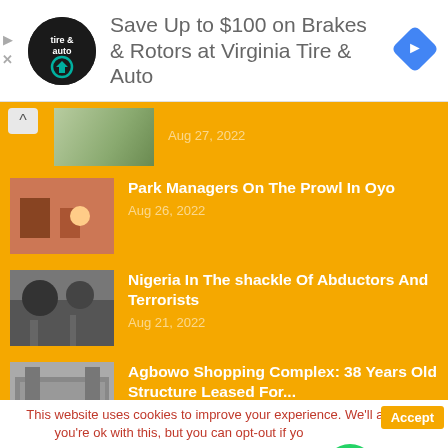[Figure (other): Advertisement banner: Save Up to $100 on Brakes & Rotors at Virginia Tire & Auto, with circular logo and blue diamond arrow icon]
Aug 27, 2022
Park Managers On The Prowl In Oyo
Aug 26, 2022
Nigeria In The shackle Of Abductors And Terrorists
Aug 21, 2022
Agbowo Shopping Complex: 38 Years Old Structure Leased For...
This website uses cookies to improve your experience. We'll assume you're ok with this, but you can opt-out if you
Read More